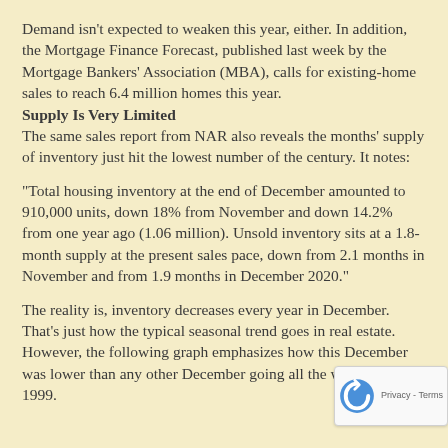Demand isn't expected to weaken this year, either. In addition, the Mortgage Finance Forecast, published last week by the Mortgage Bankers' Association (MBA), calls for existing-home sales to reach 6.4 million homes this year.
Supply Is Very Limited
The same sales report from NAR also reveals the months' supply of inventory just hit the lowest number of the century. It notes:
“Total housing inventory at the end of December amounted to 910,000 units, down 18% from November and down 14.2% from one year ago (1.06 million). Unsold inventory sits at a 1.8-month supply at the present sales pace, down from 2.1 months in November and from 1.9 months in December 2020.”
The reality is, inventory decreases every year in December. That’s just how the typical seasonal trend goes in real estate. However, the following graph emphasizes how this December was lower than any other December going all the way back to 1999.